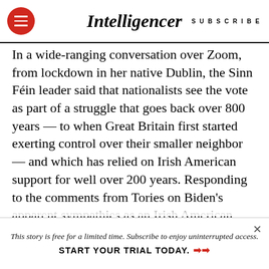Intelligencer | SUBSCRIBE
In a wide-ranging conversation over Zoom, from lockdown in her native Dublin, the Sinn Féin leader said that nationalists see the vote as part of a struggle that goes back over 800 years — to when Great Britain first started exerting control over their smaller neighbor — and which has relied on Irish American support for well over 200 years. Responding to the comments from Tories on Biden's apparent sympathies as an Irish American, McDonald said they were "a bit rich coming from the mouths of the same people who created the circumstances that made Irish people into
This story is free for a limited time. Subscribe to enjoy uninterrupted access. START YOUR TRIAL TODAY. ➤➤